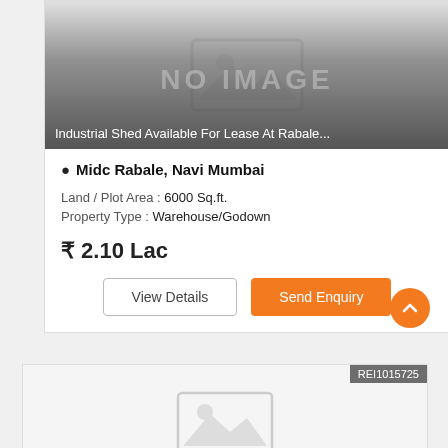[Figure (photo): No image placeholder with gray background and image icon, overlaid with 'NO IMAGE' text and listing title]
Industrial Shed Available For Lease At Rabale...
Midc Rabale, Navi Mumbai
Land / Plot Area : 6000 Sq.ft.
Property Type : Warehouse/Godown
₹ 2.10 Lac
View Details
Send Enquiry
[Figure (photo): Second listing card partially visible at bottom with REI1015725 badge and no-image placeholder]